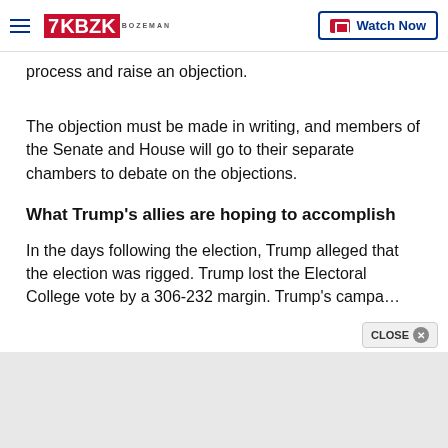KBZK BOZEMAN | Watch Now
process and raise an objection.
The objection must be made in writing, and members of the Senate and House will go to their separate chambers to debate on the objections.
What Trump's allies are hoping to accomplish
In the days following the election, Trump alleged that the election was rigged. Trump lost the Electoral College vote by a 306-232 margin. Trump's campa…